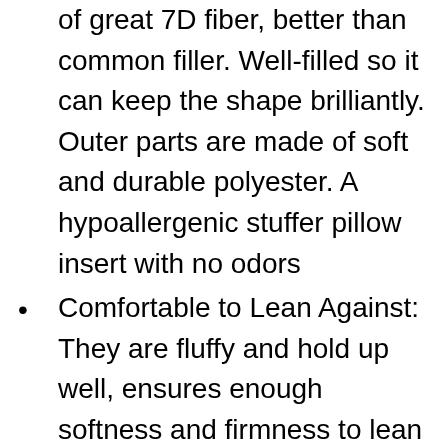of great 7D fiber, better than common filler. Well-filled so it can keep the shape brilliantly. Outer parts are made of soft and durable polyester. A hypoallergenic stuffer pillow insert with no odors
Comfortable to Lean Against: They are fluffy and hold up well, ensures enough softness and firmness to lean against. You will feel great to lay your head on or use as a back support in a chair or sofa. Do no sag
Great Decorative Pillows: Easily fluffy up to regally display your